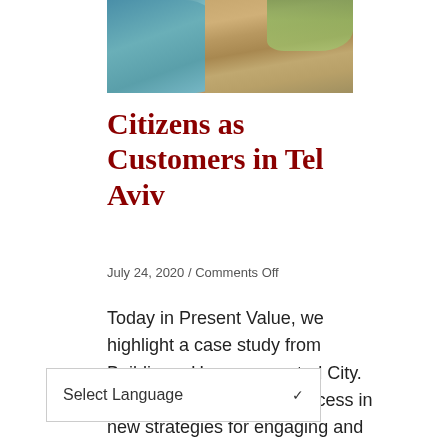[Figure (photo): Aerial photograph of Tel Aviv coastline showing the sea on the left and dense urban buildings with some greenery on the right.]
Citizens as Customers in Tel Aviv
July 24, 2020 / Comments Off
Today in Present Value, we highlight a case study from Building a Hyperconnected City. We highlight Tel Aviv's success in new strategies for engaging and building trust
Select Language